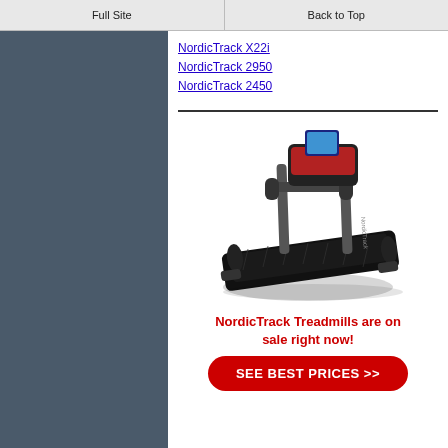Full Site | Back to Top
NordicTrack X22i
NordicTrack 2950
NordicTrack 2450
[Figure (photo): NordicTrack treadmill product photo on white background]
NordicTrack Treadmills are on sale right now!
SEE BEST PRICES >>